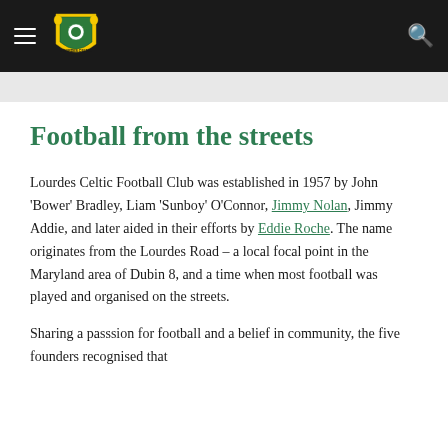Lourdes Celtic Football Club website header with hamburger menu, club crest logo, and search icon
Football from the streets
Lourdes Celtic Football Club was established in 1957 by John 'Bower' Bradley, Liam 'Sunboy' O'Connor, Jimmy Nolan, Jimmy Addie, and later aided in their efforts by Eddie Roche. The name originates from the Lourdes Road – a local focal point in the Maryland area of Dubin 8, and a time when most football was played and organised on the streets.
Sharing a passsion for football and a belief in community, the five founders recognised that